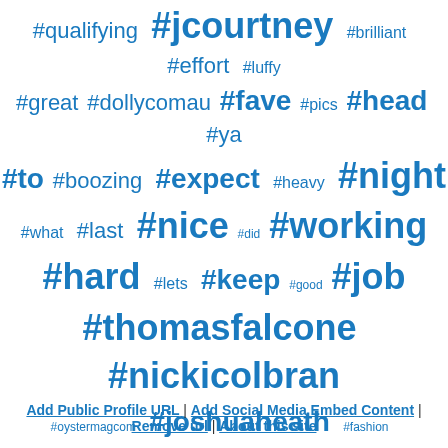[Figure (infographic): Tag cloud of hashtags with varying font sizes indicating frequency/importance: #qualifying, #jcourtney, #brilliant, #effort, #luffy, #great, #dollycomau, #fave, #pics, #head, #ya, #to, #boozing, #expect, #heavy, #night, #what, #last, #nice, #did, #working, #hard, #lets, #keep, #good, #job, #thomasfalcone, #nickicolbran, #oystermagcom, #joshuaheath, #fashion, #ryohei, #oyster, #tokyo, #shot]
Add Public Profile URL | Add Social Media Embed Content | Remove url | About this site